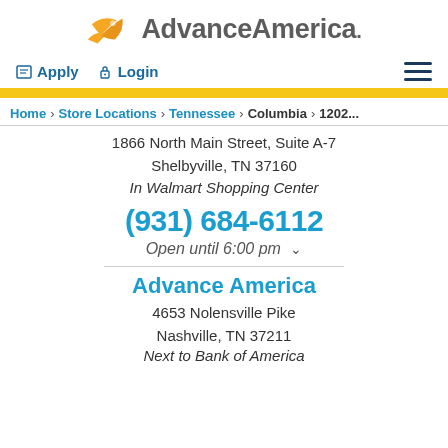[Figure (logo): Advance America logo with bird/arrow icon in orange/gold and company name in gray]
Apply  Login  [hamburger menu]
Home > Store Locations > Tennessee > Columbia > 1202...
1866 North Main Street, Suite A-7
Shelbyville, TN 37160
In Walmart Shopping Center
(931) 684-6112
Open until 6:00 pm
Advance America
4653 Nolensville Pike
Nashville, TN 37211
Next to Bank of America